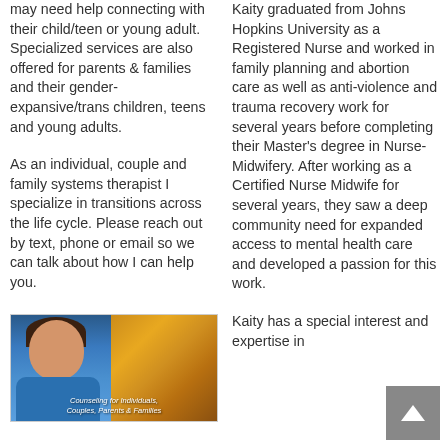may need help connecting with their child/teen or young adult. Specialized services are also offered for parents & families and their gender-expansive/trans children, teens and young adults.
As an individual, couple and family systems therapist I specialize in transitions across the life cycle. Please reach out by text, phone or email so we can talk about how I can help you.
[Figure (photo): Photo of a woman smiling, wearing a blue top, with bokeh autumn-colored background. Text overlay reads: Counseling for Individuals, Couples, Parents & Families]
Kaity graduated from Johns Hopkins University as a Registered Nurse and worked in family planning and abortion care as well as anti-violence and trauma recovery work for several years before completing their Master's degree in Nurse-Midwifery. After working as a Certified Nurse Midwife for several years, they saw a deep community need for expanded access to mental health care and developed a passion for this work.
Kaity has a special interest and expertise in